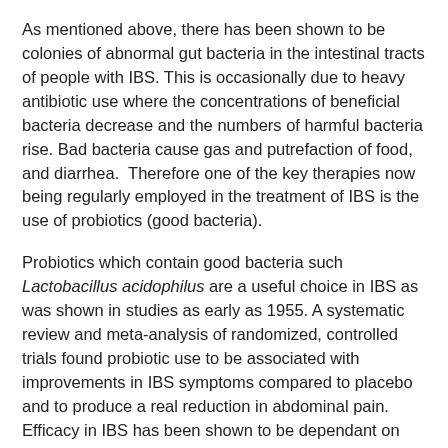As mentioned above, there has been shown to be colonies of abnormal gut bacteria in the intestinal tracts of people with IBS. This is occasionally due to heavy antibiotic use where the concentrations of beneficial bacteria decrease and the numbers of harmful bacteria rise. Bad bacteria cause gas and putrefaction of food, and diarrhea.  Therefore one of the key therapies now being regularly employed in the treatment of IBS is the use of probiotics (good bacteria).
Probiotics which contain good bacteria such Lactobacillus acidophilus are a useful choice in IBS as was shown in studies as early as 1955. A systematic review and meta-analysis of randomized, controlled trials found probiotic use to be associated with improvements in IBS symptoms compared to placebo and to produce a real reduction in abdominal pain. Efficacy in IBS has been shown to be dependant on the type of bacterial strain. L. [continues]